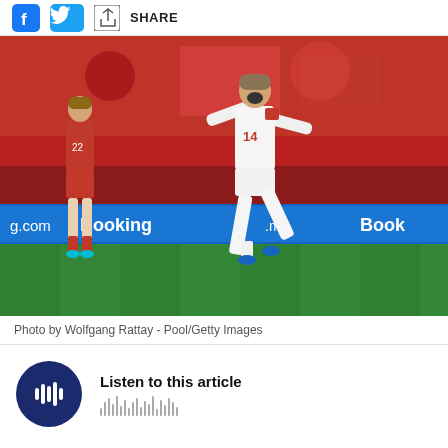SHARE
[Figure (photo): A Danish footballer wearing white kit with number 14 celebrates scoring a goal, running with mouth open and fists clenched. A Russian player in red kit with number 22 stands dejected in the background. Crowd in red fills the stands. Stadium advertising boards show Booking.com.]
Photo by Wolfgang Rattay - Pool/Getty Images
Listen to this article